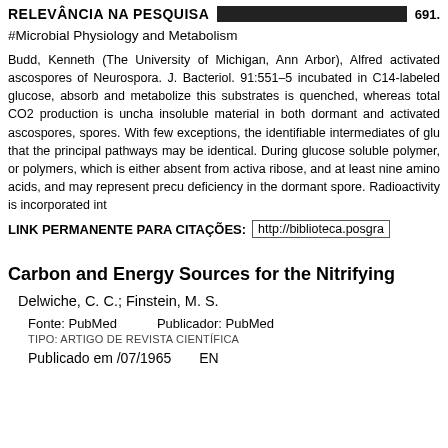RELEVÂNCIA NA PESQUISA  691.
#Microbial Physiology and Metabolism
Budd, Kenneth (The University of Michigan, Ann Arbor), Alfred activated ascospores of Neurospora. J. Bacteriol. 91:551–5 incubated in C14-labeled glucose, absorb and metabolize this substrates is quenched, whereas total CO2 production is uncha insoluble material in both dormant and activated ascospores, spores. With few exceptions, the identifiable intermediates of glu that the principal pathways may be identical. During glucose soluble polymer, or polymers, which is either absent from activa ribose, and at least nine amino acids, and may represent precu deficiency in the dormant spore. Radioactivity is incorporated int
LINK PERMANENTE PARA CITAÇÕES:  http://biblioteca.posgra
Carbon and Energy Sources for the Nitrifying
Delwiche, C. C.; Finstein, M. S.
Fonte: PubMed    Publicador: PubMed
TIPO: ARTIGO DE REVISTA CIENTÍFICA
Publicado em /07/1965    EN